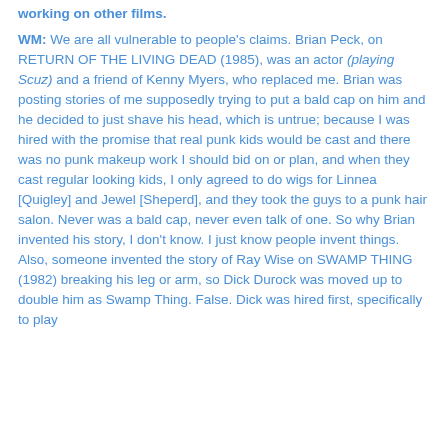working on other films. WM: We are all vulnerable to people's claims. Brian Peck, on RETURN OF THE LIVING DEAD (1985), was an actor (playing Scuz) and a friend of Kenny Myers, who replaced me. Brian was posting stories of me supposedly trying to put a bald cap on him and he decided to just shave his head, which is untrue; because I was hired with the promise that real punk kids would be cast and there was no punk makeup work I should bid on or plan, and when they cast regular looking kids, I only agreed to do wigs for Linnea [Quigley] and Jewel [Sheperd], and they took the guys to a punk hair salon. Never was a bald cap, never even talk of one. So why Brian invented his story, I don't know. I just know people invent things. Also, someone invented the story of Ray Wise on SWAMP THING (1982) breaking his leg or arm, so Dick Durock was moved up to double him as Swamp Thing. False. Dick was hired first, specifically to play